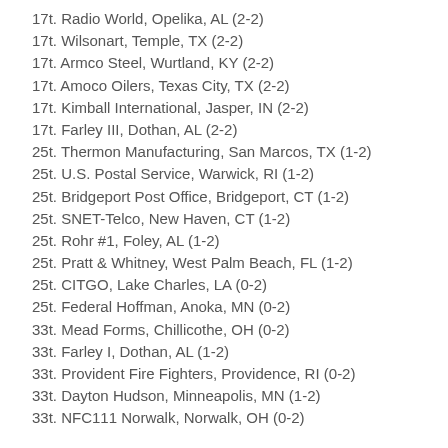17t. Radio World, Opelika, AL (2-2)
17t. Wilsonart, Temple, TX (2-2)
17t. Armco Steel, Wurtland, KY (2-2)
17t. Amoco Oilers, Texas City, TX (2-2)
17t. Kimball International, Jasper, IN (2-2)
17t. Farley III, Dothan, AL (2-2)
25t. Thermon Manufacturing, San Marcos, TX (1-2)
25t. U.S. Postal Service, Warwick, RI (1-2)
25t. Bridgeport Post Office, Bridgeport, CT (1-2)
25t. SNET-Telco, New Haven, CT (1-2)
25t. Rohr #1, Foley, AL (1-2)
25t. Pratt & Whitney, West Palm Beach, FL (1-2)
25t. CITGO, Lake Charles, LA (0-2)
25t. Federal Hoffman, Anoka, MN (0-2)
33t. Mead Forms, Chillicothe, OH (0-2)
33t. Farley I, Dothan, AL (1-2)
33t. Provident Fire Fighters, Providence, RI (0-2)
33t. Dayton Hudson, Minneapolis, MN (1-2)
33t. NFC111 Norwalk, Norwalk, OH (0-2)